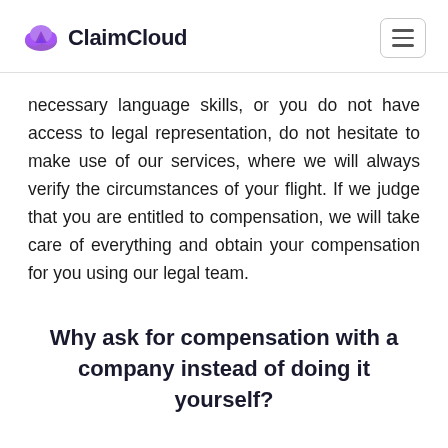ClaimCloud
necessary language skills, or you do not have access to legal representation, do not hesitate to make use of our services, where we will always verify the circumstances of your flight. If we judge that you are entitled to compensation, we will take care of everything and obtain your compensation for you using our legal team.
Why ask for compensation with a company instead of doing it yourself?